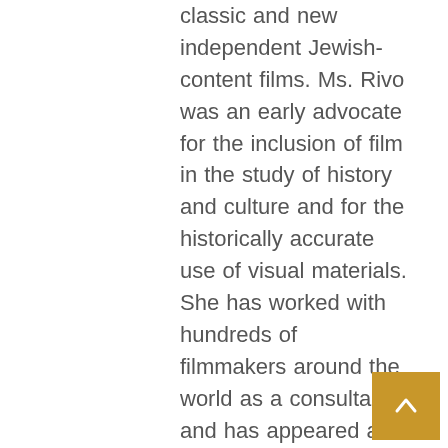classic and new independent Jewish-content films. Ms. Rivo was an early advocate for the inclusion of film in the study of history and culture and for the historically accurate use of visual materials. She has worked with hundreds of filmmakers around the world as a consultant and has appeared as an expert in many documentaries and television programs. She has curated film programs for venues from Boston to Beijing, including co-curating the first ever retrospective of Yiddish cinema, held at the Museum of Modern Art in New York. Ms. Rivo has been a member of Brandeis University faculty for more than twenty years and she lectures widely on the history of